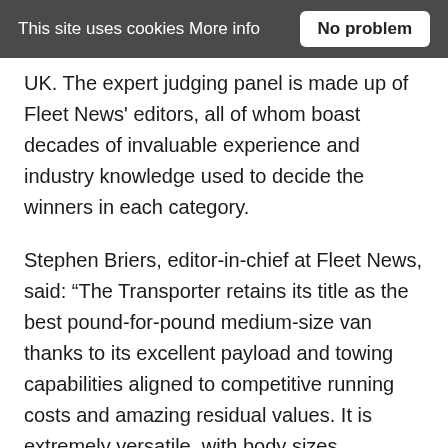This site uses cookies More info   No problem
UK. The expert judging panel is made up of Fleet News' editors, all of whom boast decades of invaluable experience and industry knowledge used to decide the winners in each category.
Stephen Briers, editor-in-chief at Fleet News, said: “The Transporter retains its title as the best pound-for-pound medium-size van thanks to its excellent payload and towing capabilities aligned to competitive running costs and amazing residual values. It is extremely versatile, with body sizes, drivetrain and gross vehicle weight options to suit all fleet needs, while offering drivers a near car-like experience behind the wheel, protected by the latest safety technology. It remains